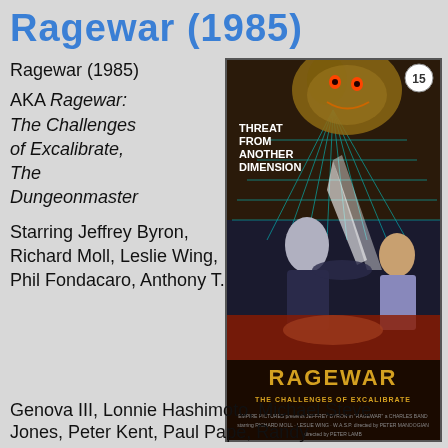Ragewar (1985)
Ragewar (1985)
AKA Ragewar: The Challenges of Excalibrate, The Dungeonmaster
Starring Jeffrey Byron, Richard Moll, Leslie Wing, Phil Fondacaro, Anthony T.
[Figure (photo): VHS/DVD cover art for Ragewar (1985) showing a sci-fi fantasy movie poster with the text 'THREAT FROM ANOTHER DIMENSION', a monster face at top, two characters fighting, a woman lying down, and 'RAGEWAR THE CHALLENGES OF EXCALIBRATE' at the bottom. A '15' rating circle is visible in the top right.]
Genova III, Lonnie Hashimoto, Michael Steve Jones, Peter Kent, Paul Pape, Randy